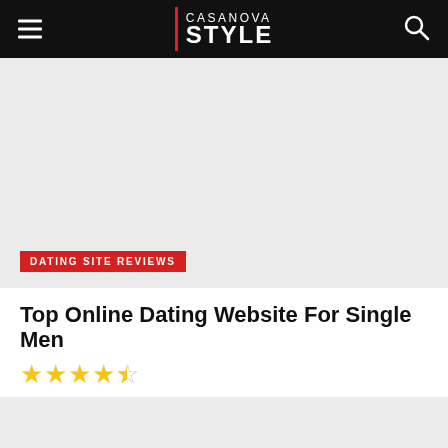CASANOVA STYLE
[Figure (photo): Hero image placeholder with light gray background and a red category badge reading DATING SITE REVIEWS]
DATING SITE REVIEWS
Top Online Dating Website For Single Men
★★★★☆ (4.5 stars rating)
[Figure (photo): Second article image placeholder with light gray background]